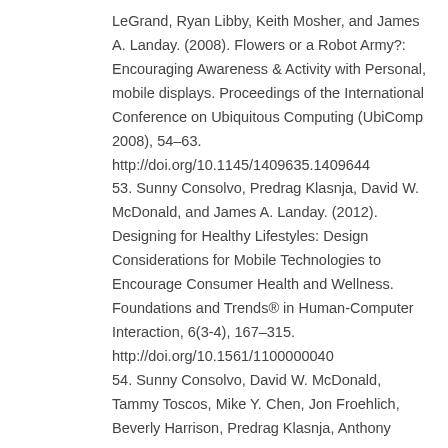LeGrand, Ryan Libby, Keith Mosher, and James A. Landay. (2008). Flowers or a Robot Army?: Encouraging Awareness & Activity with Personal, mobile displays. Proceedings of the International Conference on Ubiquitous Computing (UbiComp 2008), 54–63. http://doi.org/10.1145/1409635.1409644
53. Sunny Consolvo, Predrag Klasnja, David W. McDonald, and James A. Landay. (2012). Designing for Healthy Lifestyles: Design Considerations for Mobile Technologies to Encourage Consumer Health and Wellness. Foundations and Trends® in Human-Computer Interaction, 6(3-4), 167–315. http://doi.org/10.1561/1100000040
54. Sunny Consolvo, David W. McDonald, Tammy Toscos, Mike Y. Chen, Jon Froehlich, Beverly Harrison, Predrag Klasnja, Anthony LaMarea, Louis LeGrand, Ryan Libby, Ian Smith, and James A. Landay. (2008).